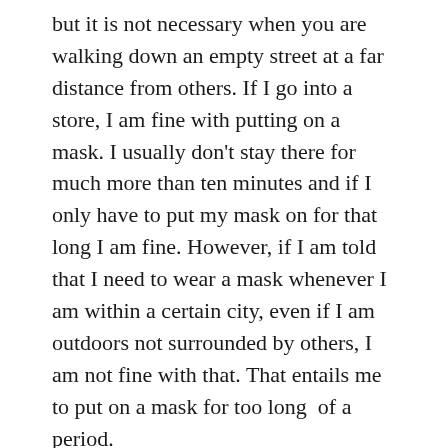but it is not necessary when you are walking down an empty street at a far distance from others. If I go into a store, I am fine with putting on a mask. I usually don't stay there for much more than ten minutes and if I only have to put my mask on for that long I am fine. However, if I am told that I need to wear a mask whenever I am within a certain city, even if I am outdoors not surrounded by others, I am not fine with that. That entails me to put on a mask for too long  of a period.
And there is another major issue with masks, especially for people on the autism spectrum. Masks make it harder to understand others. Some of us speak unusually, so others need to rely on our lips to